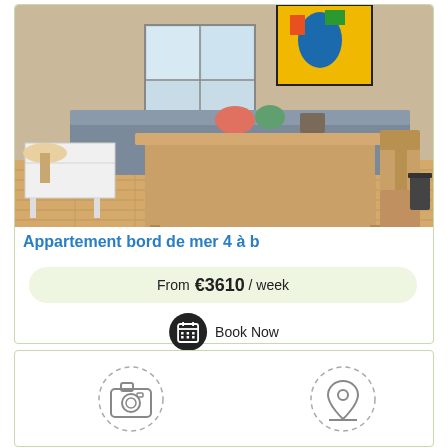[Figure (photo): Interior photo of an apartment showing a wooden dining table with chairs, a small white side table, a sofa/bench in the background, wood floors, a window, and a colorful poster on the wall.]
Appartement bord de mer 4 à ...
From €3610 / week
Book Now
[Figure (other): Two placeholder icons: a camera icon and a location pin icon, both in dashed circle borders, indicating image and map placeholders for another listing card.]